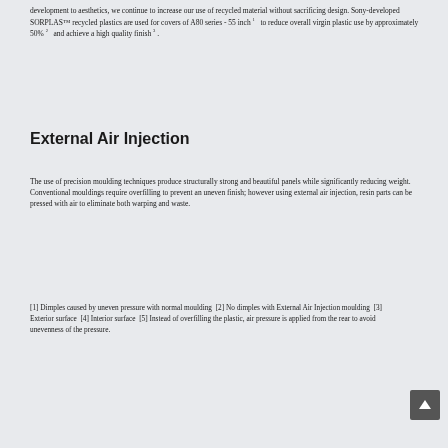development to aesthetics, we continue to increase our use of recycled material without sacrificing design. Sony-developed SORPLAS™ recycled plastics are used for covers of A80 series - 55 inch ¹  to reduce overall virgin plastic use by approximately 50% ²  and achieve a high quality finish ³ .
External Air Injection
The use of precision moulding techniques produce structurally strong and beautiful panels while significantly reducing weight. Conventional mouldings require overfilling to prevent an uneven finish; however using external air injection, resin parts can be pressed with air to eliminate both warping and waste.
[1] Dimples caused by uneven pressure with normal moulding  [2] No dimples with External Air Injection moulding  [3] Exterior surface  [4] Interior surface  [5] Instead of overfilling the plastic, air pressure is applied from the rear to avoid unevenness of the pressure.